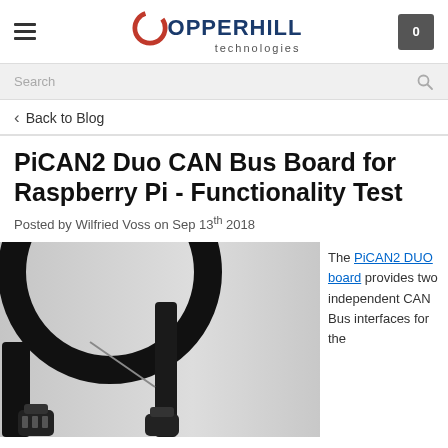Copperhill Technologies [navigation header with hamburger menu, logo, and cart icon showing 0]
Search
< Back to Blog
PiCAN2 Duo CAN Bus Board for Raspberry Pi - Functionality Test
Posted by Wilfried Voss on Sep 13th 2018
[Figure (photo): Photo of black cable connectors/plugs against a light gray background]
The PiCAN2 DUO board provides two independent CAN Bus interfaces for the